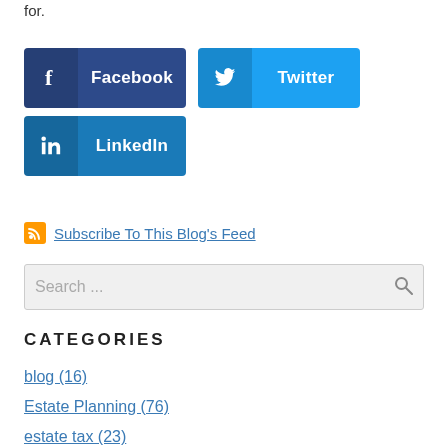for.
[Figure (other): Social sharing buttons: Facebook (dark blue), Twitter (light blue), LinkedIn (medium blue)]
Subscribe To This Blog's Feed
Search ...
CATEGORIES
blog (16)
Estate Planning (76)
estate tax (23)